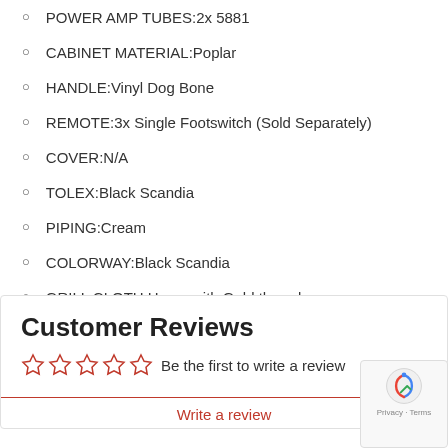POWER AMP TUBES:2x 5881
CABINET MATERIAL:Poplar
HANDLE:Vinyl Dog Bone
REMOTE:3x Single Footswitch (Sold Separately)
COVER:N/A
TOLEX:Black Scandia
PIPING:Cream
COLORWAY:Black Scandia
GRILL CLOTH:Hemp with Gold thread
Your photos go here.
Submit Your Photo
Customer Reviews
Be the first to write a review
Write a review